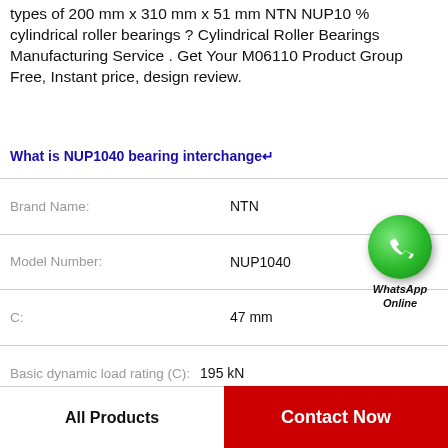types of 200 mm x 310 mm x 51 mm NTN NUP10 % cylindrical roller bearings ? Cylindrical Roller Bearings Manufacturing Service . Get Your M06110 Product Group Free, Instant price, design review.
What is NUP1040 bearing interchange↵
| Property | Value |
| --- | --- |
| Brand Name: | NTN |
| Model Number: | NUP1040 |
| C: | 47 mm |
| Basic dynamic load rating (C): | 195 kN |
| Bore Diameter (mm): | 100 |
| d: | 100 mm |
| Size (mm): | 100x215x47 |
[Figure (illustration): WhatsApp Online green phone icon with text 'WhatsApp Online']
All Products
Contact Now